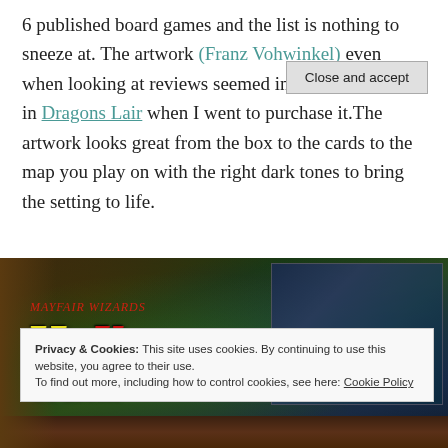6 published board games and the list is nothing to sneeze at. The artwork (Franz Vohwinkel) even when looking at reviews seemed interesting as it did in Dragons Lair when I went to purchase it.The artwork looks great from the box to the cards to the map you play on with the right dark tones to bring the setting to life.
[Figure (photo): Photo of Hexer von Salem board game box and game map spread on a wooden table surface, showing dark fantasy artwork with green glow and the game title in stylized yellow text]
Privacy & Cookies: This site uses cookies. By continuing to use this website, you agree to their use.
To find out more, including how to control cookies, see here: Cookie Policy
Close and accept